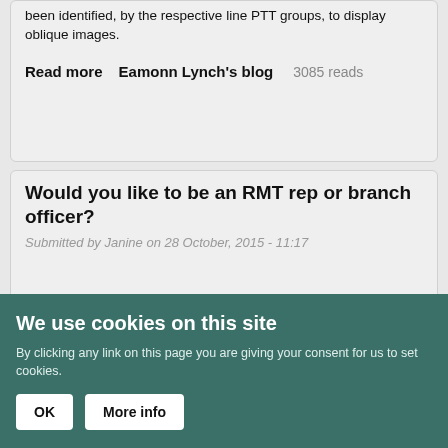been identified, by the respective line PTT groups, to display oblique images.
Read more   Eamonn Lynch's blog   3085 reads
Would you like to be an RMT rep or branch officer?
Submitted by Janine on 28 October, 2015 - 11:17
We use cookies on this site
By clicking any link on this page you are giving your consent for us to set cookies.
OK   More info